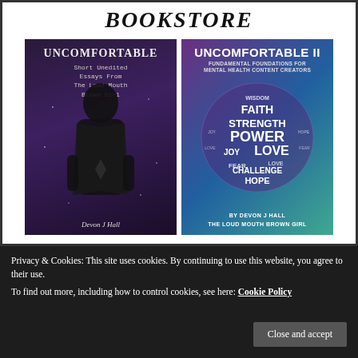BOOKSTORE
[Figure (photo): Book cover: UNCOMFORTABLE - Short Unedited Essays From The Loud Mouth Brown Girl by Devon J Hall. Dark purple background with silhouette of a woman.]
[Figure (photo): Book cover: UNCOMFORTABLE II - Fundamental Foundations For Mental Health Content Creators by Devon J Hall The Loud Mouth Brown Girl. Purple/teal gradient background with word cloud globe featuring words: FAITH, STRENGTH, POWER, JOY, LOVE, CHALLENGE, HOPE, WISDOM, FEAR.]
Privacy & Cookies: This site uses cookies. By continuing to use this website, you agree to their use.
To find out more, including how to control cookies, see here: Cookie Policy
Close and accept